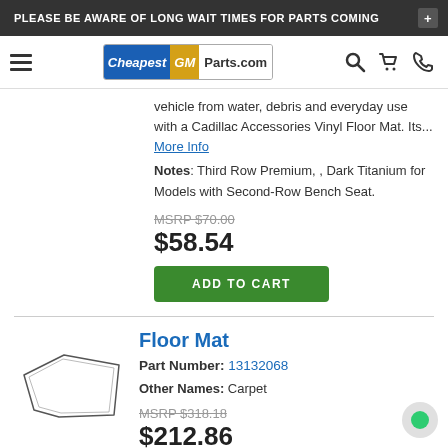PLEASE BE AWARE OF LONG WAIT TIMES FOR PARTS COMING +
[Figure (logo): CheapestGMParts.com logo with hamburger menu, search, cart, and phone icons]
vehicle from water, debris and everyday use with a Cadillac Accessories Vinyl Floor Mat. Its... More Info
Notes: Third Row Premium, , Dark Titanium for Models with Second-Row Bench Seat.
MSRP $70.00
$58.54
ADD TO CART
Floor Mat
Part Number: 13132068
Other Names: Carpet
MSRP $318.18
$212.86
ADD TO CART